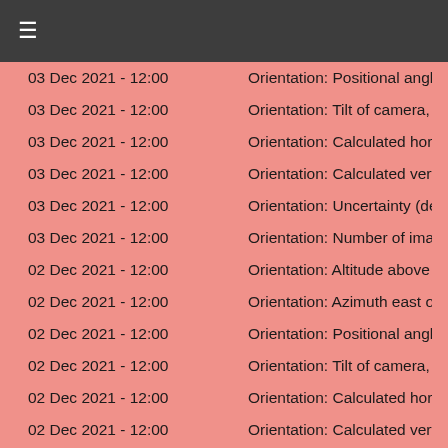≡
03 Dec 2021 - 12:00   Orientation: Positional angle o
03 Dec 2021 - 12:00   Orientation: Tilt of camera, clo
03 Dec 2021 - 12:00   Orientation: Calculated horiz on
03 Dec 2021 - 12:00   Orientation: Calculated vertica
03 Dec 2021 - 12:00   Orientation: Uncertainty (deg)
03 Dec 2021 - 12:00   Orientation: Number of images
02 Dec 2021 - 12:00   Orientation: Altitude above hor
02 Dec 2021 - 12:00   Orientation: Azimuth east of no
02 Dec 2021 - 12:00   Orientation: Positional angle o
02 Dec 2021 - 12:00   Orientation: Tilt of camera, clo
02 Dec 2021 - 12:00   Orientation: Calculated horiz on
02 Dec 2021 - 12:00   Orientation: Calculated vertica